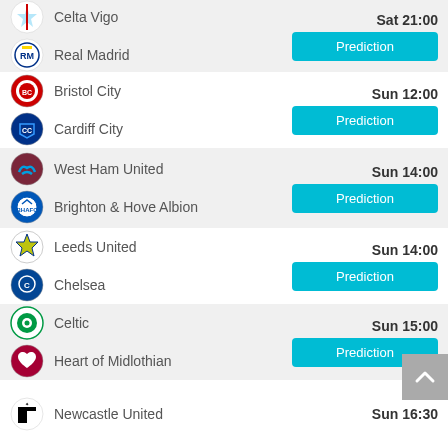Celta Vigo vs Real Madrid — Sat 21:00 — Prediction
Bristol City vs Cardiff City — Sun 12:00 — Prediction
West Ham United vs Brighton & Hove Albion — Sun 14:00 — Prediction
Leeds United vs Chelsea — Sun 14:00 — Prediction
Celtic vs Heart of Midlothian — Sun 15:00 — Prediction
Newcastle United — Sun 16:30